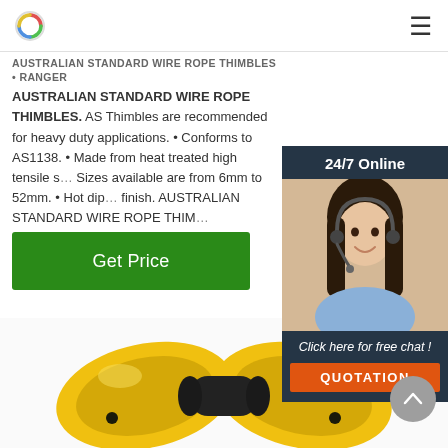Logo and navigation menu
AUSTRALIAN STANDARD WIRE ROPE THIMBLES • Ranger AUSTRALIAN STANDARD WIRE ROPE THIMBLES. AS Thimbles are recommended for heavy duty applications. • Conforms to AS1138. • Made from heat treated high tensile s... Sizes available are from 6mm to 52mm. • Hot dip... finish. AUSTRALIAN STANDARD WIRE ROPE THIM... Specification.
Get Price
[Figure (photo): Chat widget showing a female customer service agent wearing headset, with '24/7 Online' header, 'Click here for free chat!' text, and QUOTATION button]
[Figure (photo): Yellow wire rope thimbles (industrial hardware) photographed close-up, showing two yellow metal thimbles joined by a black center roller]